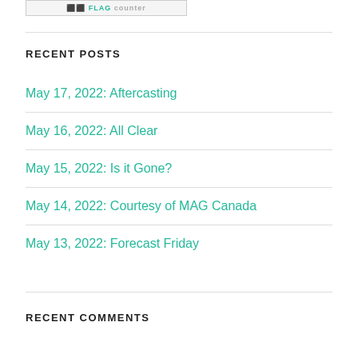[Figure (other): Flag Counter badge image placeholder]
RECENT POSTS
May 17, 2022: Aftercasting
May 16, 2022: All Clear
May 15, 2022: Is it Gone?
May 14, 2022: Courtesy of MAG Canada
May 13, 2022: Forecast Friday
RECENT COMMENTS